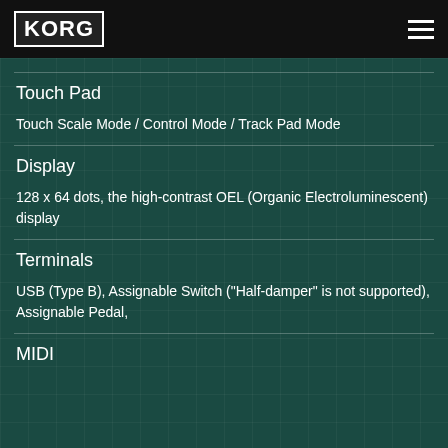KORG
Touch Pad
Touch Scale Mode / Control Mode / Track Pad Mode
Display
128 x 64 dots, the high-contrast OEL (Organic Electroluminescent) display
Terminals
USB (Type B), Assignable Switch ("Half-damper" is not supported), Assignable Pedal,
MIDI